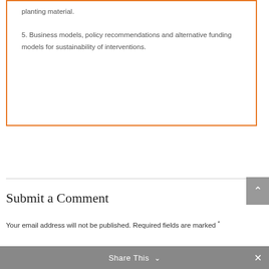planting material.
5. Business models, policy recommendations and alternative funding models for sustainability of interventions.
Submit a Comment
Your email address will not be published. Required fields are marked *
Share This ∨  ×